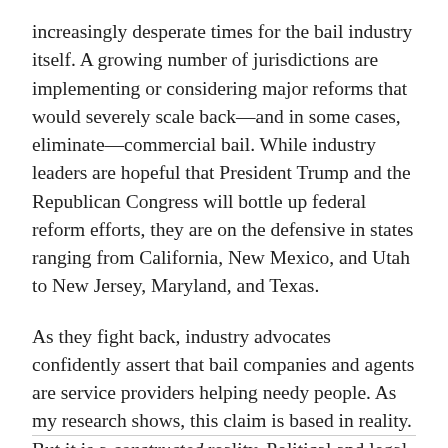increasingly desperate times for the bail industry itself. A growing number of jurisdictions are implementing or considering major reforms that would severely scale back—and in some cases, eliminate—commercial bail. While industry leaders are hopeful that President Trump and the Republican Congress will bottle up federal reform efforts, they are on the defensive in states ranging from California, New Mexico, and Utah to New Jersey, Maryland, and Texas.
As they fight back, industry advocates confidently assert that bail companies and agents are service providers helping needy people. As my research shows, this claim is based in reality. But it is a constructed reality. Political and legal decisions make the services necessary in the first place.